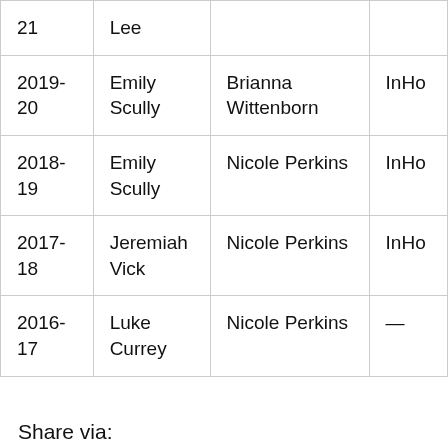| Year | Person | Name | Type |
| --- | --- | --- | --- |
| 21 | Lee |  |  |
| 2019-20 | Emily Scully | Brianna Wittenborn | InHo |
| 2018-19 | Emily Scully | Nicole Perkins | InHo |
| 2017-18 | Jeremiah Vick | Nicole Perkins | InHo |
| 2016-17 | Luke Currey | Nicole Perkins | — |
Share via: